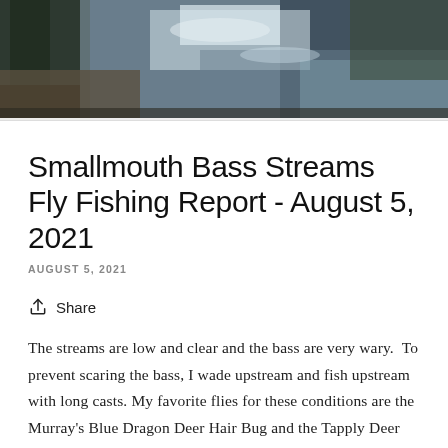[Figure (photo): Header photo of a stream with water reflections, rocks, and trees visible]
Smallmouth Bass Streams Fly Fishing Report - August 5, 2021
AUGUST 5, 2021
Share
The streams are low and clear and the bass are very wary.  To prevent scaring the bass, I wade upstream and fish upstream with long casts. My favorite flies for these conditions are the Murray's Blue Dragon Deer Hair Bug and the Tapply Deer Hair Bass Bug fi sh the same on 8X b and the th d